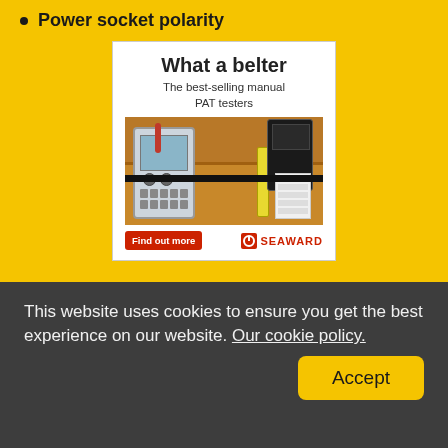Power socket polarity
[Figure (illustration): Advertisement for Seaward PAT testers showing text 'What a belter - The best-selling manual PAT testers' with an image of testing equipment in a tool belt and a 'Find out more' button with the Seaward logo]
This website uses cookies to ensure you get the best experience on our website. Our cookie policy.
Accept